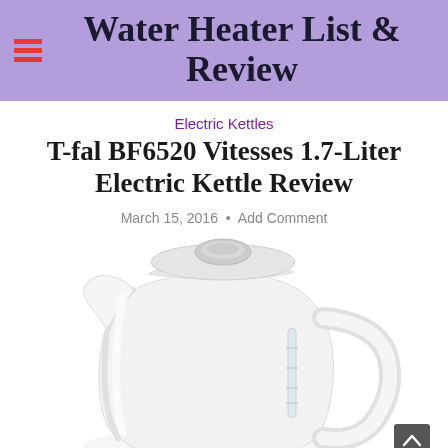Water Heater List & Review
Electric Kettles
T-fal BF6520 Vitesses 1.7-Liter Electric Kettle Review
March 15, 2016 • Add Comment
[Figure (photo): White T-fal BF6520 Vitesses 1.7-Liter Electric Kettle on white background, showing the kettle body, lid with silver button, handle, and water level indicator window on the side.]